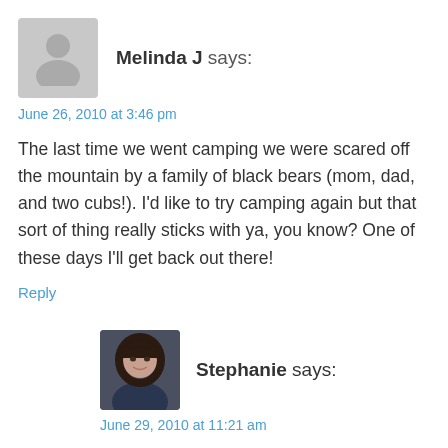Melinda J says:
June 26, 2010 at 3:46 pm
The last time we went camping we were scared off the mountain by a family of black bears (mom, dad, and two cubs!). I'd like to try camping again but that sort of thing really sticks with ya, you know? One of these days I'll get back out there!
Reply
[Figure (photo): Profile photo of Stephanie, a woman with curly dark hair, smiling]
Stephanie says:
June 29, 2010 at 11:21 am
My! That IS scary! You'll have to tell me that